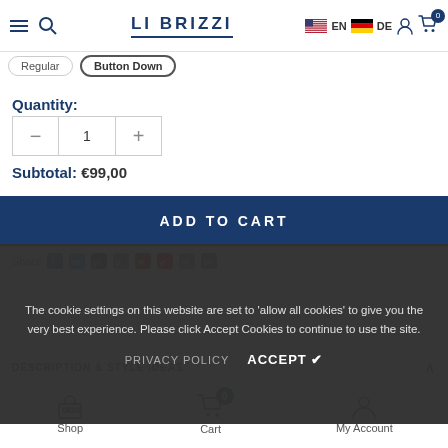LI BRIZZI - navigation header with hamburger menu, search, logo, language flags (EN, DE), account and cart icons
Regular
Button Down
Quantity:
1
Subtotal: €99,00
ADD TO CART
Share
The cookie settings on this website are set to 'allow all cookies' to give you the very best experience. Please click Accept Cookies to continue to use the site.
PRIVACY POLICY   ACCEPT ✔
DESCRIPTION & STYLE IDEAS
Shop  Cart (0)  My Account